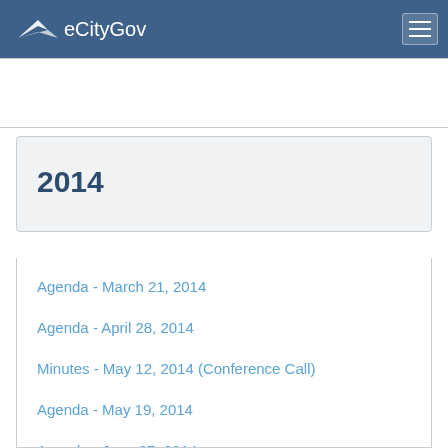eCityGov
2014
Agenda - March 21, 2014
Agenda - April 28, 2014
Minutes - May 12, 2014 (Conference Call)
Agenda - May 19, 2014
Agenda - June 27, 2014